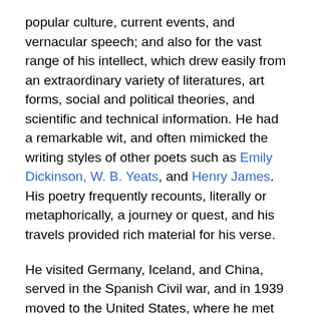popular culture, current events, and vernacular speech; and also for the vast range of his intellect, which drew easily from an extraordinary variety of literatures, art forms, social and political theories, and scientific and technical information. He had a remarkable wit, and often mimicked the writing styles of other poets such as Emily Dickinson, W. B. Yeats, and Henry James. His poetry frequently recounts, literally or metaphorically, a journey or quest, and his travels provided rich material for his verse.
He visited Germany, Iceland, and China, served in the Spanish Civil war, and in 1939 moved to the United States, where he met his lover, Chester Kallman, and became an American citizen. His own beliefs changed radically between his youthful career in England, when he was an ardent advocate of socialism and Freudian